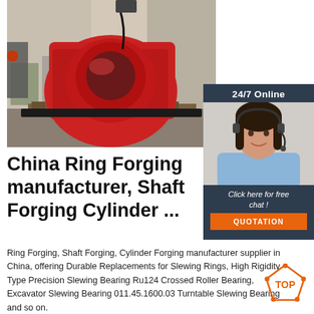[Figure (photo): Industrial red ring forging machine in a factory/workshop setting, placed on wooden pallets. Heavy red metal machinery visible with wiring.]
[Figure (infographic): Sidebar widget with dark blue/grey background showing '24/7 Online' text, a photo of a female customer service representative wearing a headset and smiling, italic text 'Click here for free chat!', and an orange 'QUOTATION' button.]
China Ring Forging manufacturer, Shaft Forging Cylinder ...
Ring Forging, Shaft Forging, Cylinder Forging manufacturer supplier in China, offering Durable Replacements for Slewing Rings, High Rigidity Type Precision Slewing Bearing Ru124 Crossed Roller Bearing, Excavator Slewing Bearing 011.45.1600.03 Turntable Slewing Bearing and so on.